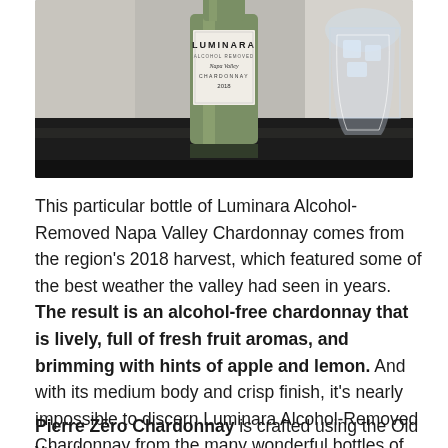[Figure (photo): Photo of a Luminara Alcohol-Removed Napa Valley Chardonnay 2018 wine bottle on a dark reflective surface, with a glass of water or ice visible to the right.]
This particular bottle of Luminara Alcohol-Removed Napa Valley Chardonnay comes from the region's 2018 harvest, which featured some of the best weather the valley had seen in years. The result is an alcohol-free chardonnay that is lively, full of fresh fruit aromas, and brimming with hints of apple and lemon. And with its medium body and crisp finish, it's nearly impossible to discern Luminara Alcohol-Removed Chardonnay from the many wonderful bottles of traditional white wine born in this region.
Pierre Zēro Chardonnay is crafted using the Old World